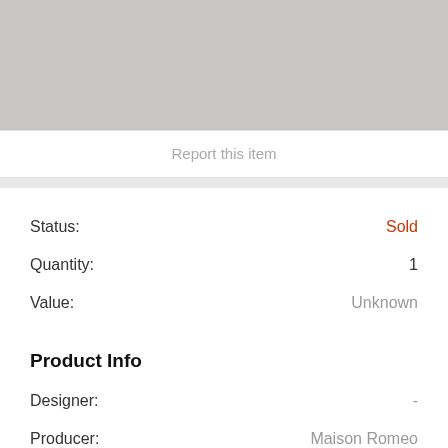[Figure (photo): Gray placeholder image area at the top of the page]
Report this item
Status: Sold
Quantity: 1
Value: Unknown
Product Info
Designer: -
Producer: Maison Romeo
Model: -
Period: Seventies